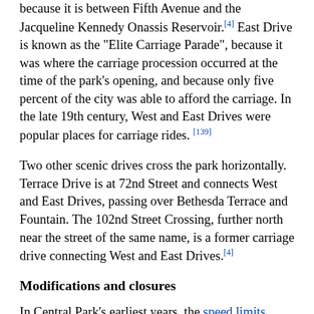because it is between Fifth Avenue and the Jacqueline Kennedy Onassis Reservoir.[4] East Drive is known as the "Elite Carriage Parade", because it was where the carriage procession occurred at the time of the park's opening, and because only five percent of the city was able to afford the carriage. In the late 19th century, West and East Drives were popular places for carriage rides.[139]
Two other scenic drives cross the park horizontally. Terrace Drive is at 72nd Street and connects West and East Drives, passing over Bethesda Terrace and Fountain. The 102nd Street Crossing, further north near the street of the same name, is a former carriage drive connecting West and East Drives.[4]
Modifications and closures
In Central Park's earliest years, the speed limits